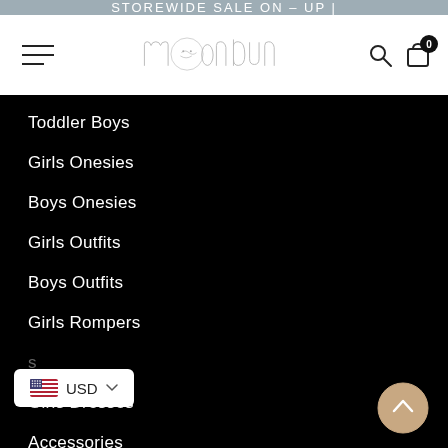STOREWIDE SALE ON – UP |
[Figure (logo): Moonbun brand logo with stylized handwritten text and moon face illustration]
Toddler Boys
Girls Onesies
Boys Onesies
Girls Outfits
Boys Outfits
Girls Rompers
Girls Dresses
Accessories